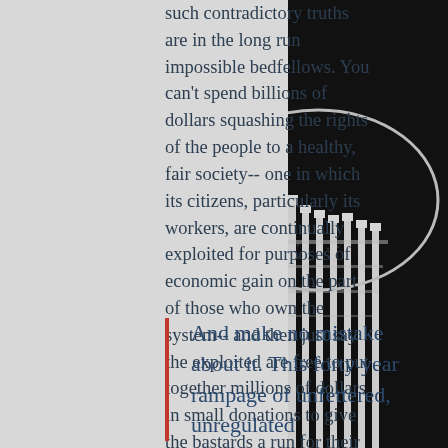such contradictory truths are in the long run impossible bedfellows. You can't spend billions of dollars squashing the rights of the people to a healthy, fair society-- one in which its citizens, particularly its workers, are continually exploited for purposes of economic gain on the part of those who own the system-- and then just say the exploited are free to put together millions of dollars in small donations to give the bastards a run for their money, if they so wish. How fucking dare they."
And make no mistake about it. This forty year rampage of unfettered, unregulated
[Figure (photo): Black and white photograph of the US Capitol building dome, showing neoclassical columns and architectural details, on a dark/black background]